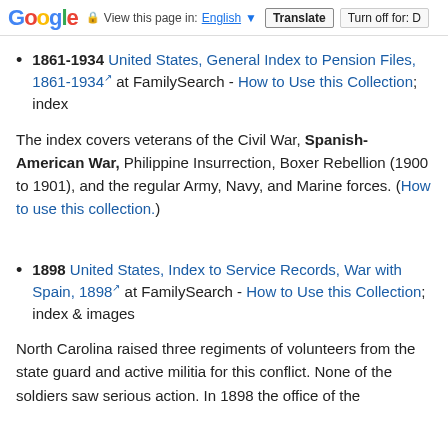Google  View this page in: English ▼  Translate  Turn off for: D
1861-1934 United States, General Index to Pension Files, 1861-1934 at FamilySearch - How to Use this Collection; index
The index covers veterans of the Civil War, Spanish-American War, Philippine Insurrection, Boxer Rebellion (1900 to 1901), and the regular Army, Navy, and Marine forces. (How to use this collection.)
1898 United States, Index to Service Records, War with Spain, 1898 at FamilySearch - How to Use this Collection; index & images
North Carolina raised three regiments of volunteers from the state guard and active militia for this conflict. None of the soldiers saw serious action. In 1898 the office of the